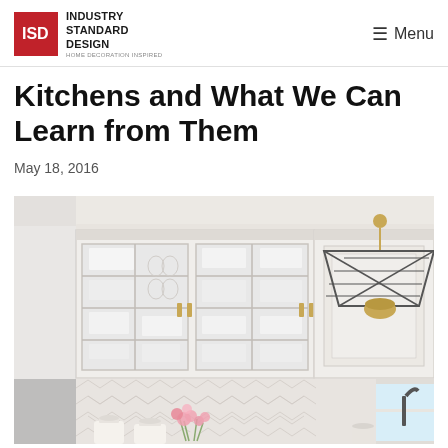Industry Standard Design — Menu
Kitchens and What We Can Learn from Them
May 18, 2016
[Figure (photo): Bright white kitchen with glass-front upper cabinets showing dishes and glassware, herringbone tile backsplash, brass pendant light with geometric shade over window, pink flowers on counter]